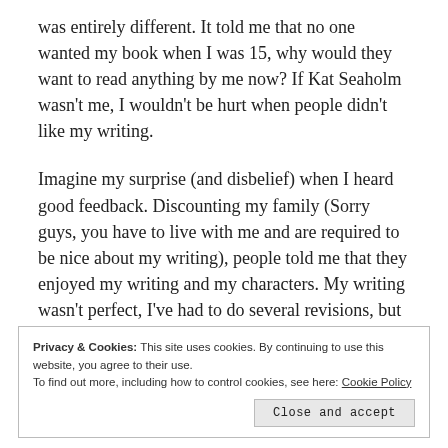was entirely different. It told me that no one wanted my book when I was 15, why would they want to read anything by me now? If Kat Seaholm wasn't me, I wouldn't be hurt when people didn't like my writing.
Imagine my surprise (and disbelief) when I heard good feedback. Discounting my family (Sorry guys, you have to live with me and are required to be nice about my writing), people told me that they enjoyed my writing and my characters. My writing wasn't perfect, I've had to do several revisions, but people saw something that was worth taking the time to polish.
Privacy & Cookies: This site uses cookies. By continuing to use this website, you agree to their use.
To find out more, including how to control cookies, see here: Cookie Policy
Close and accept